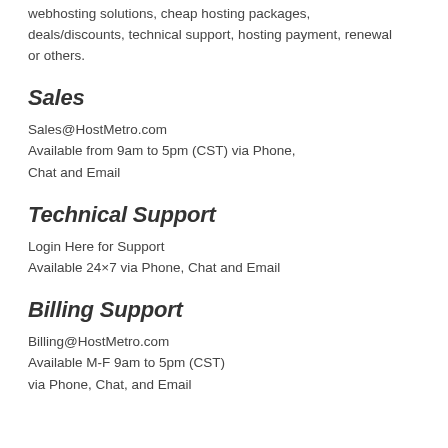webhosting solutions, cheap hosting packages, deals/discounts, technical support, hosting payment, renewal or others.
Sales
Sales@HostMetro.com
Available from 9am to 5pm (CST) via Phone, Chat and Email
Technical Support
Login Here for Support
Available 24×7 via Phone, Chat and Email
Billing Support
Billing@HostMetro.com
Available M-F 9am to 5pm (CST)
via Phone, Chat, and Email